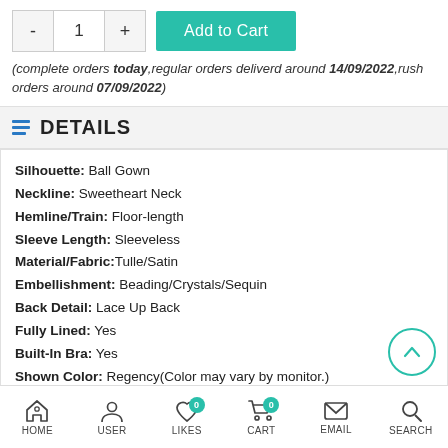- 1 + Add to Cart
(complete orders today,regular orders deliverd around 14/09/2022,rush orders around 07/09/2022)
DETAILS
Silhouette: Ball Gown
Neckline: Sweetheart Neck
Hemline/Train: Floor-length
Sleeve Length: Sleeveless
Material/Fabric:Tulle/Satin
Embellishment: Beading/Crystals/Sequin
Back Detail: Lace Up Back
Fully Lined: Yes
Built-In Bra: Yes
Shown Color: Regency(Color may vary by monitor.)
Supply Type:Custom Tailoring
Season:spring,summer,fall,winter
HOME  USER  LIKES  CART  EMAIL  SEARCH